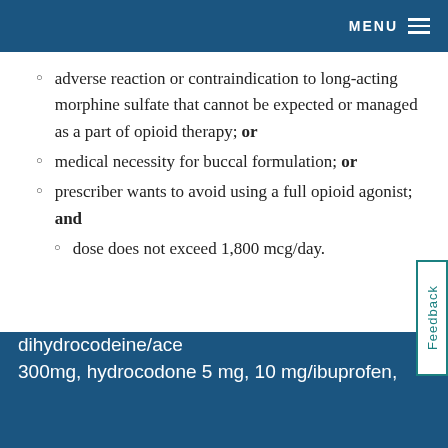MENU
adverse reaction or contraindication to long-acting morphine sulfate that cannot be expected or managed as a part of opioid therapy; or
medical necessity for buccal formulation; or
prescriber wants to avoid using a full opioid agonist; and
dose does not exceed 1,800 mcg/day.
benzhydrocodone/acetaminophen, dihydrocodeine/ace 300mg, hydrocodone 5 mg, 10 mg/ibuprofen,